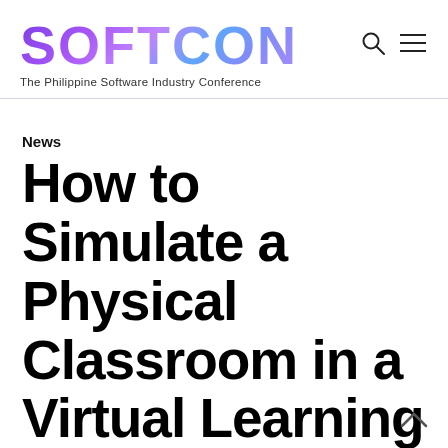SOFTCON — The Philippine Software Industry Conference
News
How to Simulate a Physical Classroom in a Virtual Learning Space